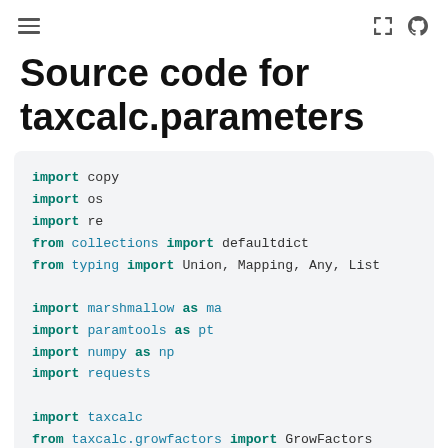≡  [expand icon] [github icon]
Source code for taxcalc.parameters
import copy
import os
import re
from collections import defaultdict
from typing import Union, Mapping, Any, List

import marshmallow as ma
import paramtools as pt
import numpy as np
import requests

import taxcalc
from taxcalc.growfactors import GrowFactors